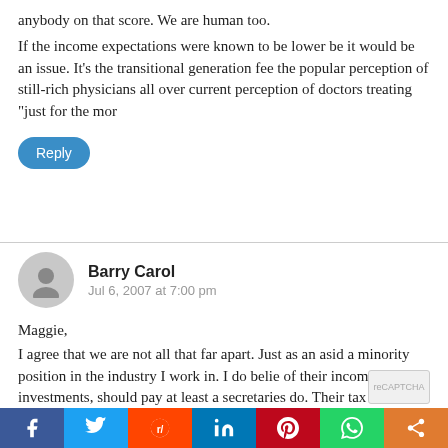anybody on that score. We are human too. If the income expectations were known to be lower be it would be an issue. It's the transitional generation fee the popular perception of still-rich physicians all over current perception of doctors treating "just for the mo
Reply
Barry Carol
Jul 6, 2007 at 7:00 pm
Maggie,
I agree that we are not all that far apart. Just as an asid a minority position in the industry I work in. I do belie of their income from investments, should pay at least a secretaries do. Their tax burden is considerably lower c